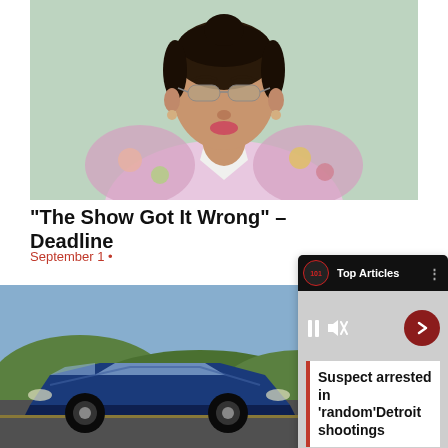[Figure (photo): Celebrity woman with sunglasses wearing a floral jacket, light green background]
"The Show Got It Wrong" – Deadline
September 1 •
[Figure (photo): Blue sports car (Lamborghini) on a road with hills in background]
[Figure (screenshot): Top Articles overlay card with pause/mute controls and news headline: Suspect arrested in 'random' Detroit shootings]